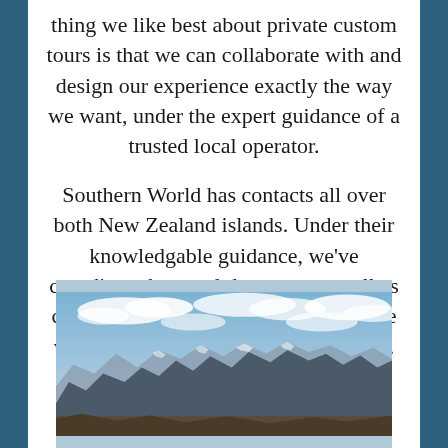thing we like best about private custom tours is that we can collaborate with and design our experience exactly the way we want, under the expert guidance of a trusted local operator.
Southern World has contacts all over both New Zealand islands. Under their knowledgable guidance, we've coordinated several day tours as well as chosen cities to serve as our home base while we explore the amazing country.
[Figure (photo): Mountain landscape photograph showing rugged mountain peaks with snow-capped ridges under a partly cloudy blue sky.]